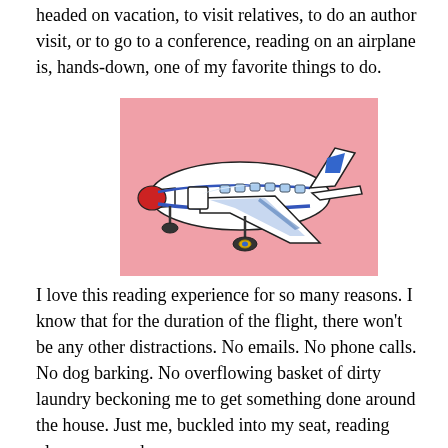headed on vacation, to visit relatives, to do an author visit, or to go to a conference, reading on an airplane is, hands-down, one of my favorite things to do.
[Figure (illustration): Cartoon illustration of a commercial airplane flying, with a white body, red nose, blue stripe, windows along the fuselage, and landing gear visible. The airplane is set against a pink/salmon background rectangle.]
I love this reading experience for so many reasons. I know that for the duration of the flight, there won't be any other distractions. No emails. No phone calls. No dog barking. No overflowing basket of dirty laundry beckoning me to get something done around the house. Just me, buckled into my seat, reading glasses on, and my